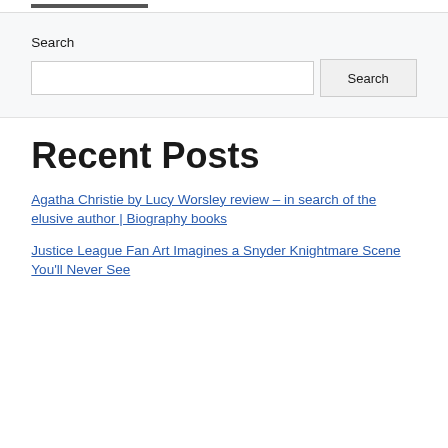[Figure (other): Navigation bar placeholder at top of page]
Search
[Figure (other): Search input box and Search button]
Recent Posts
Agatha Christie by Lucy Worsley review – in search of the elusive author | Biography books
Justice League Fan Art Imagines a Snyder Knightmare Scene You'll Never See